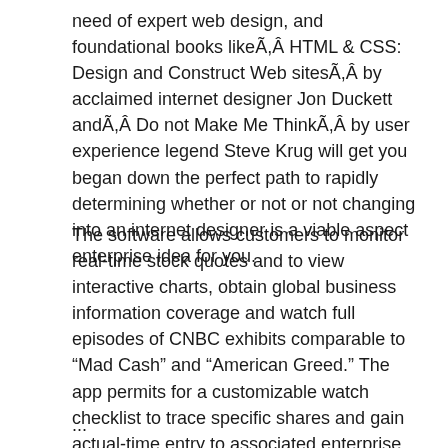need of expert web design, and foundational books likeÃ,Â HTML & CSS: Design and Construct Web sitesÃ,Â by acclaimed internet designer Jon Duckett andÃ,Â Do not Make Me ThinkÃ,Â by user experience legend Steve Krug will get you began down the perfect path to rapidly determining whether or not or not changing into an internet designer is a viable aspect enterprise idea for you.
The software allows customers to monitor real-time stock quotes and to view interactive charts, obtain global business information coverage and watch full episodes of CNBC exhibits comparable to “Mad Cash” and “American Greed.” The app permits for a customizable watch checklist to trace specific shares and gain actual-time entry to associated enterprise news headlines.
...